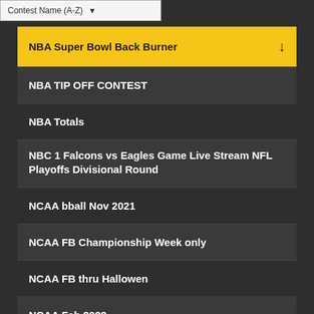Contest Name (A-Z)
NBA Super Bowl Back Burner
NBA TIP OFF CONTEST
NBA Totals
NBC 1 Falcons vs Eagles Game Live Stream NFL Playoffs Divisional Round
NCAA bball Nov 2021
NCAA FB Championship Week only
NCAA FB thru Hallowen
NCAA Feb 2022
NCAA hoops Thanksgiving Week tournament
NCAA MARCH MADNESS
NCAAB March